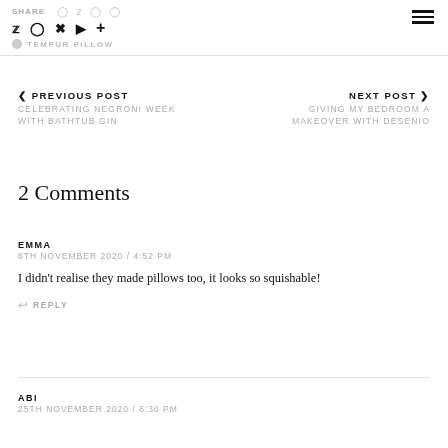SHARE | social icons | TEMPUR PILLOW
< PREVIOUS POST
CELEBRATING NEGRONI WEEK WITH BATHTUB GIN
NEXT POST >
GIVING MY BEDROOM A MAKEOVER WITH DESENIO
2 Comments
EMMA
6TH NOVEMBER 2020 / 4:52 PM
I didn't realise they made pillows too, it looks so squishable!
REPLY
ABI
25TH NOVEMBER 2020 / 6:30 PM